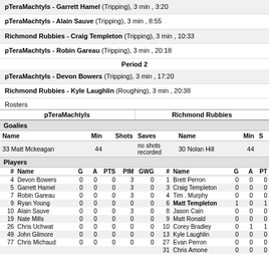pTeraMachtyls - Garrett Hamel (Tripping), 3 min , 3:20
pTeraMachtyls - Alain Sauve (Tripping), 3 min , 8:55
Richmond Rubbies - Craig Templeton (Tripping), 3 min , 10:33
pTeraMachtyls - Robin Gareau (Tripping), 3 min , 20:18
Period 2
pTeraMachtyls - Devon Bowers (Tripping), 3 min , 17:20
Richmond Rubbies - Kyle Laughlin (Roughing), 3 min , 20:38
Rosters
| pTeraMachtyls | Richmond Rubbies |
| --- | --- |
| Name | Min | Shots | Saves | Name | Min | S |
| --- | --- | --- | --- | --- | --- | --- |
| 33 Matt Mckeagan | 44 | no shots recorded |  | 30 Nolan Hill | 44 |  |
| # | Name | G | A | PTS | PIM | GWG | # | Name | G | A | PT |
| --- | --- | --- | --- | --- | --- | --- | --- | --- | --- | --- | --- |
| 4 | Devon Bowers | 0 | 0 | 0 | 3 | 0 | 1 | Brett Perron | 0 | 0 | 0 |
| 5 | Garrett Hamel | 0 | 0 | 0 | 3 | 0 | 3 | Craig Templeton | 0 | 0 | 0 |
| 7 | Robin Gareau | 0 | 0 | 0 | 3 | 0 | 4 | Tim . Murphy | 0 | 0 | 0 |
| 9 | Ryan Young | 0 | 0 | 0 | 0 | 0 | 6 | Matt Templeton | 1 | 0 | 1 |
| 10 | Alain Sauve | 0 | 0 | 0 | 3 | 0 | 8 | Jason Cain | 0 | 0 | 0 |
| 19 | Nate Mills | 0 | 0 | 0 | 0 | 0 | 9 | Matt Ronald | 0 | 0 | 0 |
| 26 | Chris Uchwat | 0 | 0 | 0 | 0 | 0 | 10 | Corey Bradley | 0 | 1 | 1 |
| 49 | John Gilmore | 0 | 0 | 0 | 0 | 0 | 13 | Kyle Laughlin | 0 | 0 | 0 |
| 77 | Chris Michaud | 0 | 0 | 0 | 0 | 0 | 27 | Evan Perron | 0 | 0 | 0 |
|  |  |  |  |  |  |  | 31 | Chris Amone | 0 | 0 | 0 |